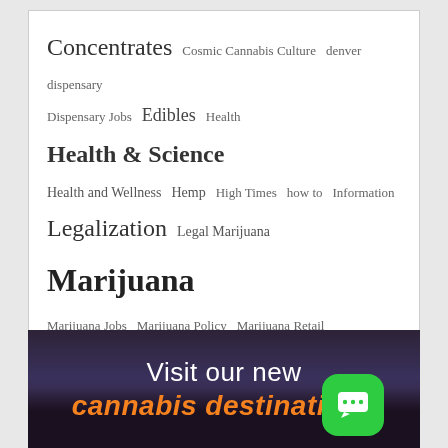Concentrates Cosmic Cannabis Culture denver dispensary Dispensary Jobs Edibles Health Health & Science Health and Wellness Hemp High Times how to Information Legalization Legal Marijuana Marijuana Marijuana Jobs Marijuana Policy Marijuana Retail Medical Marijuana Recreational Marijuana Research Science thc Things to See and Do Travel Guide vaping vaporizer Washington DC Weed
[Figure (photo): Dark cityscape banner with text 'Visit our new cannabis destinations' in white and orange italic, with a green chat button in the bottom right corner.]